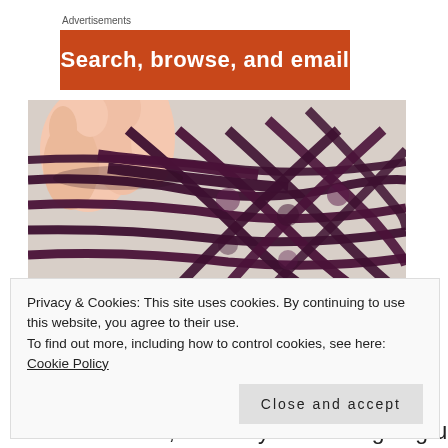Advertisements
[Figure (illustration): Orange advertisement banner with bold white text 'Search, browse, and email']
[Figure (photo): Close-up photo of hands weaving dark purple/maroon braided cords in a lattice pattern over a light fabric surface]
Privacy & Cookies: This site uses cookies. By continuing to use this website, you agree to their use.
To find out more, including how to control cookies, see here: Cookie Policy
Close and accept
over each other, that they alternate going under and